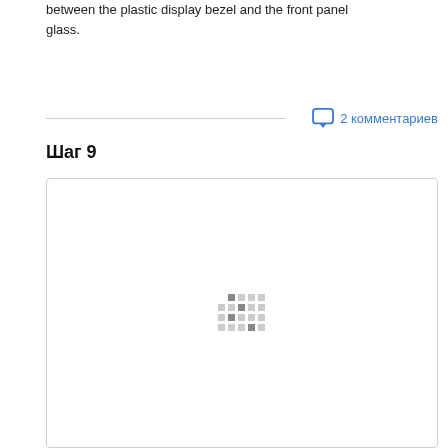between the plastic display bezel and the front panel glass.
2 комментариев
Шаг 9
[Figure (photo): Large white image area with a loading spinner (pixel dots grid) in the center, bordered by a light gray rounded rectangle]